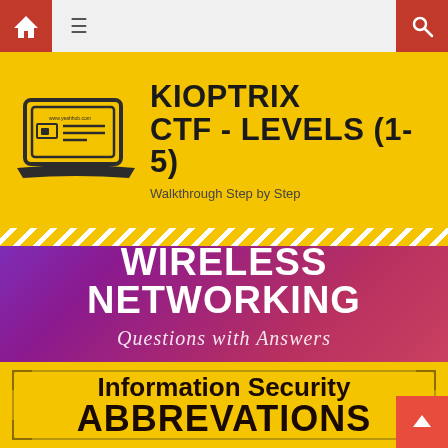Navigation bar with home, menu, and search icons
[Figure (illustration): Kioptrix CTF Levels 1-5 walkthrough book/laptop icon on yellow background with title text]
KIOPTRIX CTF - LEVELS (1-5)
Walkthrough Step by Step
[Figure (illustration): Purple gradient banner with WIRELESS NETWORKING title and Questions with Answers subtitle]
WIRELESS NETWORKING
Questions with Answers
[Figure (illustration): Yellow banner with decorative border showing Information Security ABBREVATIONS text]
Information Security ABBREVATIONS